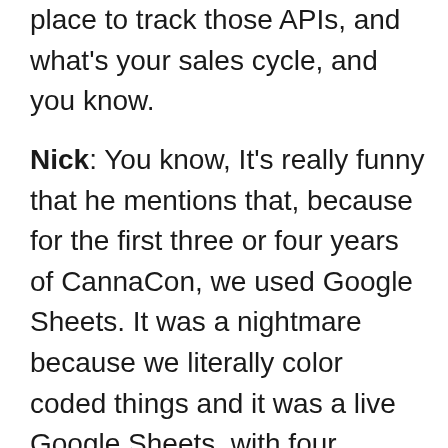place to track those APIs, and what's your sales cycle, and you know.
Nick: You know, It's really funny that he mentions that, because for the first three or four years of CannaCon, we used Google Sheets. It was a nightmare because we literally color coded things and it was a live Google Sheets, with four different salespeople. So when you were typing something in and someone hit enter, your stuff went away. Now we pay 15,000 dollars a year to use Salesforce, but as a small